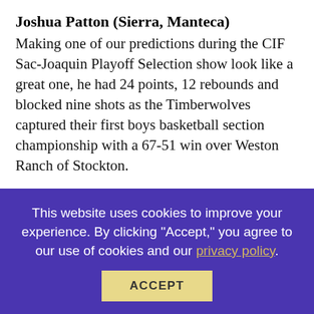Joshua Patton (Sierra, Manteca)
Making one of our predictions during the CIF Sac-Joaquin Playoff Selection show look like a great one, he had 24 points, 12 rebounds and blocked nine shots as the Timberwolves captured their first boys basketball section championship with a 67-51 win over Weston Ranch of Stockton.
Edison (Fresno) State Record
Congratulations to Edison head Coach T.J. Wilkins and players in winning the school’s 23rd section championship for a new state record. The Tigers edged Bullard 54-46 in the Central Section Division I championship. According to section historian Bob Barnett, Edison had been in a three-way tie with Mater Dei of Santa Ana & Washington Union (also of the Central Section) with
This website uses cookies to improve your experience. By clicking “Accept,” you agree to our use of cookies and our privacy policy.
ACCEPT